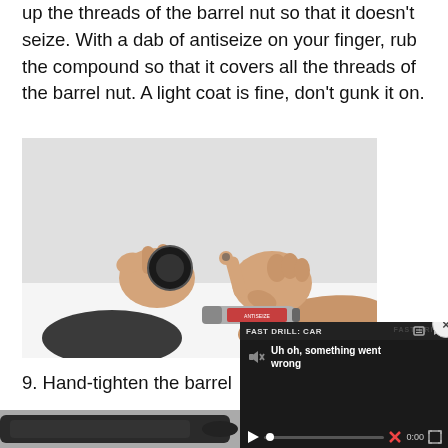up the threads of the barrel nut so that it doesn't seize. With a dab of antiseize on your finger, rub the compound so that it covers all the threads of the barrel nut. A light coat is fine, don't gunk it on.
[Figure (photo): Hands applying antiseize compound to a barrel nut, with a tube of antiseize compound visible in the foreground on a white surface.]
9. Hand-tighten the barrel
[Figure (screenshot): Video player overlay showing an error message 'Uh oh, something went wrong' with playback controls and a FAST DRILL: CAR title. A close button (x) is visible in the upper right corner.]
[Figure (photo): Partial view of a dark firearm component at the bottom of the page.]